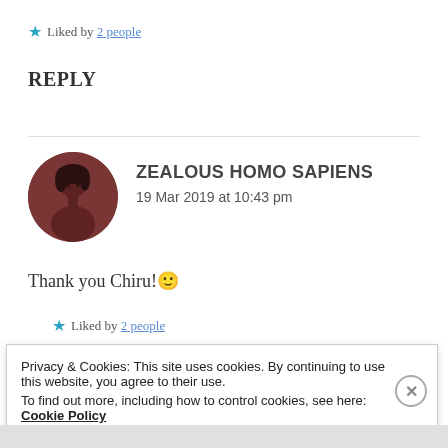★ Liked by 2 people
REPLY
ZEALOUS HOMO SAPIENS
19 Mar 2019 at 10:43 pm
Thank you Chiru! 🙂
★ Liked by 2 people
Privacy & Cookies: This site uses cookies. By continuing to use this website, you agree to their use.
To find out more, including how to control cookies, see here: Cookie Policy
Close and accept